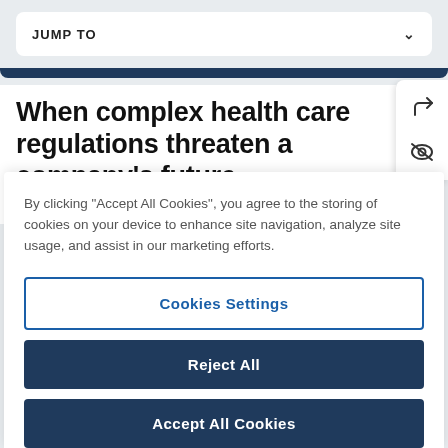JUMP TO
When complex health care regulations threaten a company's future, reputation, or strategic
By clicking "Accept All Cookies", you agree to the storing of cookies on your device to enhance site navigation, analyze site usage, and assist in our marketing efforts.
Cookies Settings
Reject All
Accept All Cookies